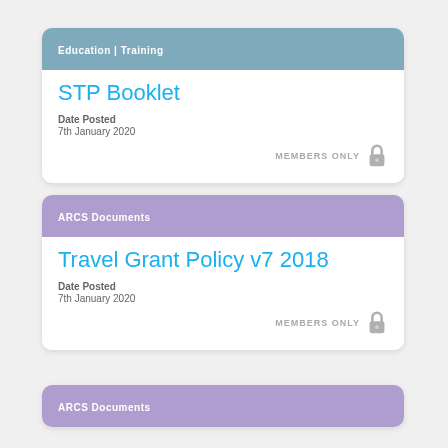Education | Training
STP Booklet
Date Posted
7th January 2020
MEMBERS ONLY
ARCS Documents
Travel Grant Policy v7 2018
Date Posted
7th January 2020
MEMBERS ONLY
ARCS Documents